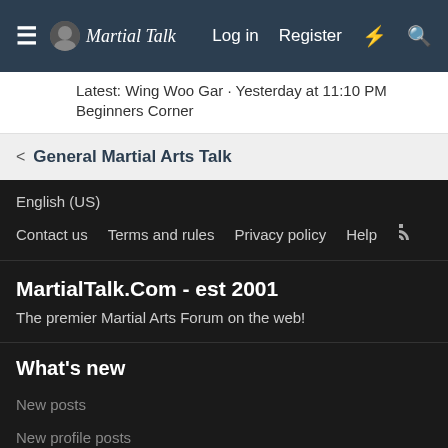Martial Talk — Log in  Register
Latest: Wing Woo Gar · Yesterday at 11:10 PM
Beginners Corner
General Martial Arts Talk
English (US)
Contact us   Terms and rules   Privacy policy   Help
MartialTalk.Com - est 2001
The premier Martial Arts Forum on the web!
What's new
New posts
New profile posts
Latest activity